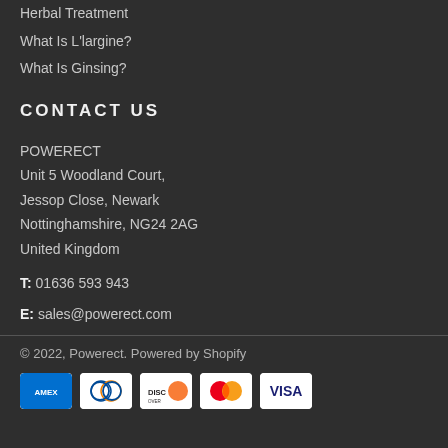Herbal Treatment
What Is L'largine?
What Is Ginsing?
CONTACT US
POWERECT
Unit 5 Woodland Court,
Jessop Close, Newark
Nottinghamshire, NG24 2AG
United Kingdom
T: 01636 593 943
E: sales@powerect.com
© 2022, Powerect. Powered by Shopify
[Figure (logo): Payment method icons: American Express, Diners Club, Discover, Mastercard, Visa]